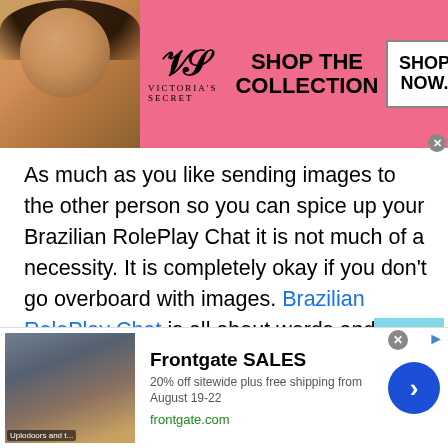[Figure (other): Victoria's Secret advertisement banner showing a model on the left, the VS logo and brand name in the center, 'SHOP THE COLLECTION' text, and a 'SHOP NOW' button on the right, on a pink background.]
As much as you like sending images to the other person so you can spice up your Brazilian RolePlay Chat it is not much of a necessity. It is completely okay if you don't go overboard with images. Brazilian RolePlay Chat is all about words and imagination. The more vivid your imagination the more you will have control over the role play chat.
Just be creative with your ideas. Just be creative with your character and that is the only thing you need. You don't
[Figure (other): Frontgate SALES advertisement banner showing outdoor furniture, text '20% off sitewide plus free shipping from August 19-22', frontgate.com URL, and a blue circular arrow button.]